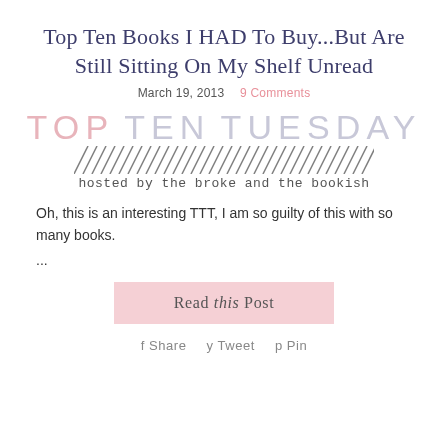Top Ten Books I HAD To Buy...But Are Still Sitting On My Shelf Unread
March 19, 2013    9 Comments
[Figure (logo): Top Ten Tuesday banner: large light text 'TOP TEN TUESDAY' with diagonal hatching lines below and cursive text 'hosted by the broke and the bookish']
Oh, this is an interesting TTT, I am so guilty of this with so many books.
...
Read this Post
Share   Tweet   Pin